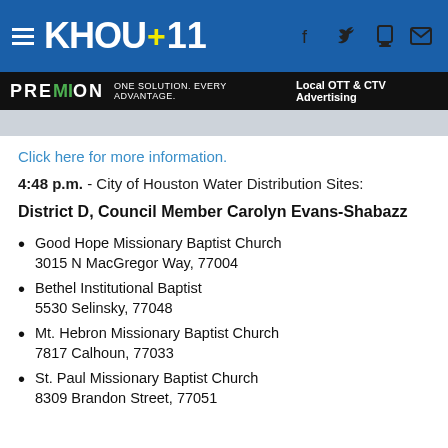KHOU 11
[Figure (screenshot): KHOU 11 news website header with hamburger menu, logo, and social icons (f, bird/Twitter, phone, mail)]
[Figure (screenshot): Advertisement banner: PREMION - ONE SOLUTION. EVERY ADVANTAGE. | Local OTT & CTV Advertising]
Click here for more information.
4:48 p.m. - City of Houston Water Distribution Sites:
District D, Council Member Carolyn Evans-Shabazz
Good Hope Missionary Baptist Church
3015 N MacGregor Way, 77004
Bethel Institutional Baptist
5530 Selinsky, 77048
Mt. Hebron Missionary Baptist Church
7817 Calhoun, 77033
St. Paul Missionary Baptist Church
8309 Brandon Street, 77051